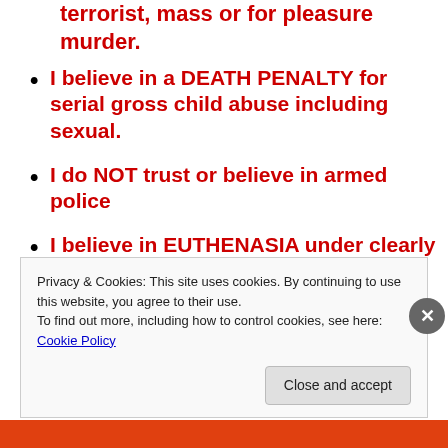terrorist, mass or for pleasure murder.
I believe in a DEATH PENALTY for serial gross child abuse including sexual.
I do NOT trust or believe in armed police
I believe in EUTHENASIA under clearly defined & legal terms
Please Be Sure To
[Figure (screenshot): Follow me on Twitter button — dark grey rounded rectangle button with text 'FOLLOW ME ON twitter']
Privacy & Cookies: This site uses cookies. By continuing to use this website, you agree to their use. To find out more, including how to control cookies, see here: Cookie Policy
Close and accept